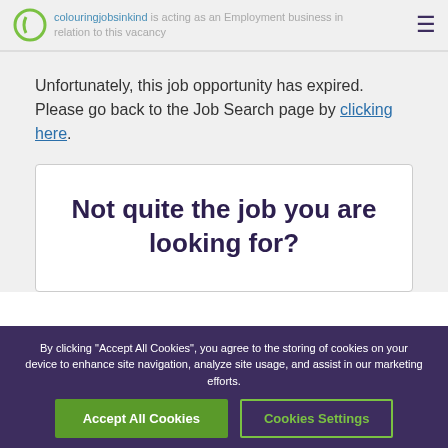colouringjobsinkind is acting as an Employment business in relation to this vacancy
Unfortunately, this job opportunity has expired. Please go back to the Job Search page by clicking here.
Not quite the job you are looking for?
By clicking “Accept All Cookies”, you agree to the storing of cookies on your device to enhance site navigation, analyze site usage, and assist in our marketing efforts.
Accept All Cookies | Cookies Settings